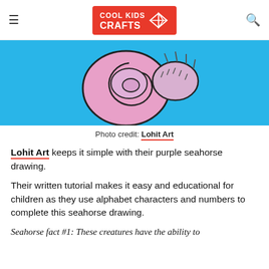Cool Kids Crafts
[Figure (illustration): A cartoon pink/purple seahorse body curl on a bright blue background, showing the spiral shell/body of the seahorse with dark outlines]
Photo credit: Lohit Art
Lohit Art keeps it simple with their purple seahorse drawing.
Their written tutorial makes it easy and educational for children as they use alphabet characters and numbers to complete this seahorse drawing.
Seahorse fact #1: These creatures have the ability to